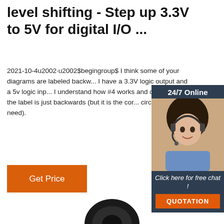level shifting - Step up 3.3V to 5V for digital I/O ...
2021-10-4u2002·u2002$begingroup$ I think some of your diagrams are labeled backwards. I have a 3.3V logic output and a 5v logic input. I understand how #4 works and can confirm the label is just backwards (but it is the correct circuit for what I need).
[Figure (photo): Customer service representative with headset, 24/7 Online banner, Click here for free chat, QUOTATION button]
[Figure (photo): Dark circular object at bottom of page, partially visible]